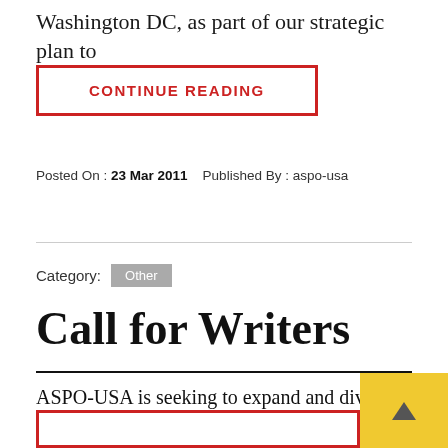Washington DC, as part of our strategic plan to
CONTINUE READING
Posted On : 23 Mar 2011   Published By : aspo-usa
Category: Other
Call for Writers
ASPO-USA is seeking to expand and diversify its roster of contributing writers.  Through our annual